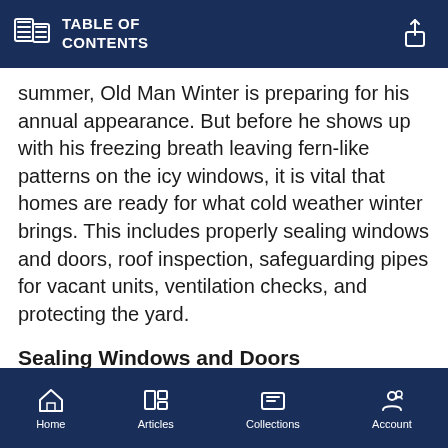TABLE OF CONTENTS
summer, Old Man Winter is preparing for his annual appearance. But before he shows up with his freezing breath leaving fern-like patterns on the icy windows, it is vital that homes are ready for what cold weather winter brings. This includes properly sealing windows and doors, roof inspection, safeguarding pipes for vacant units, ventilation checks, and protecting the yard.
Sealing Windows and Doors
Chilly air leaking into wi...
Home  Articles  Collections  Account